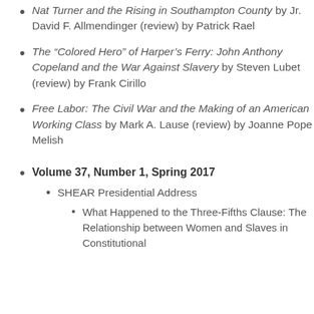Nat Turner and the Rising in Southampton County by Jr. David F. Allmendinger (review) by Patrick Rael
The “Colored Hero” of Harper’s Ferry: John Anthony Copeland and the War Against Slavery by Steven Lubet (review) by Frank Cirillo
Free Labor: The Civil War and the Making of an American Working Class by Mark A. Lause (review) by Joanne Pope Melish
Volume 37, Number 1, Spring 2017
SHEAR Presidential Address
What Happened to the Three-Fifths Clause: The Relationship between Women and Slaves in Constitutional